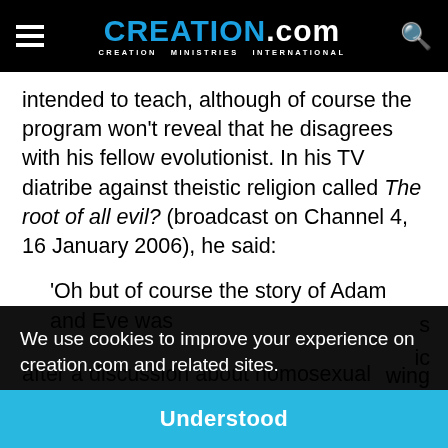CREATION.com — CREATION MINISTRIES INTERNATIONAL
intended to teach, although of course the program won't reveal that he disagrees with his fellow evolutionist. In his TV diatribe against theistic religion called The root of all evil? (broadcast on Channel 4, 16 January 2006), he said:
'Oh but of course the story of Adam and Eve was
We use cookies to improve your experience on creation.com and related sites. Privacy Policy
Understood
after a discussion about homosexual behaviour with the